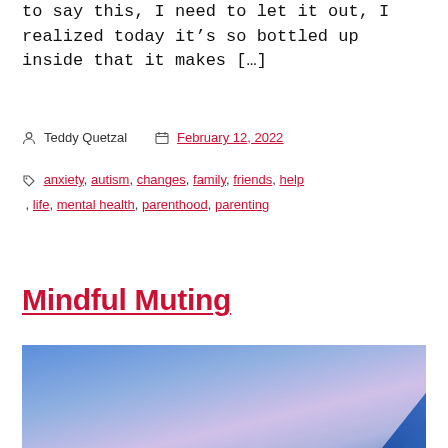to say this, I need to let it out, I realized today it's so bottled up inside that it makes […]
Teddy Quetzal  February 12, 2022
Tags: anxiety, autism, changes, family, friends, help, life, mental health, parenthood, parenting
Mindful Muting
[Figure (photo): Blue and purple gradient sky photo used as featured image for the Mindful Muting post]